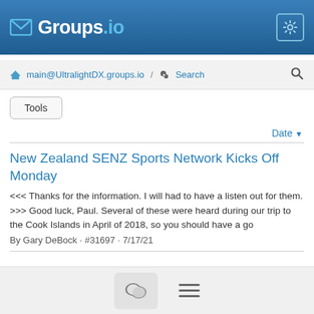Groups.io
main@UltralightDX.groups.io / Search
Tools
Date
New Zealand SENZ Sports Network Kicks Off Monday
<<< Thanks for the information. I will had to have a listen out for them. >>> Good luck, Paul. Several of these were heard during our trip to the Cook Islands in April of 2018, so you should have a go
By Gary DeBock · #31697 · 7/17/21